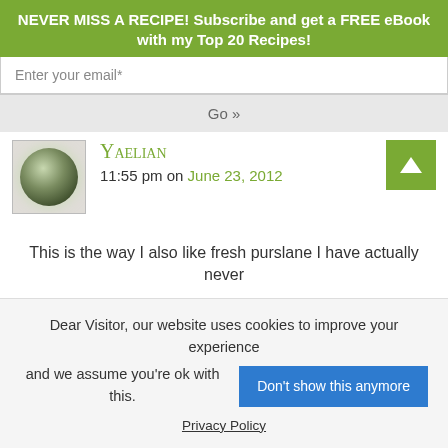NEVER MISS A RECIPE! Subscribe and get a FREE eBook with my Top 20 Recipes!
Enter your email*
Go »
YAELIAN
11:55 pm on June 23, 2012
This is the way I also like fresh purslane I have actually never
Dear Visitor, our website uses cookies to improve your experience and we assume you're ok with this.
Don't show this anymore
Privacy Policy